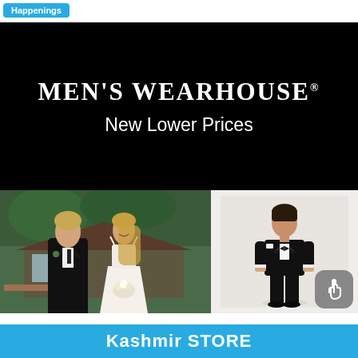Happenings
[Figure (photo): Men's Wearhouse advertisement banner with black background, brand name and 'New Lower Prices' tagline]
[Figure (photo): Couple at wedding outdoor setting: man in black tuxedo with tie and boutonniere, woman in white lace wedding dress]
[Figure (photo): Man modeling black tuxedo with bow tie on light gray background, full-body shot]
Kashmir STORE